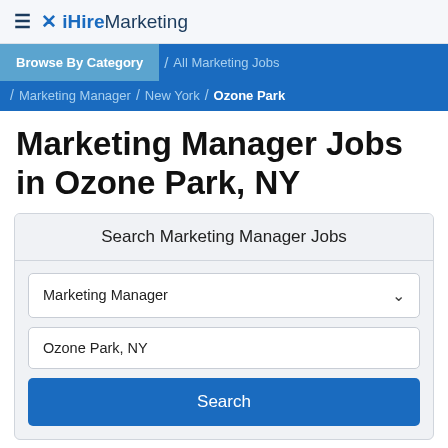≡ ✕ iHireMarketing
Browse By Category / All Marketing Jobs / Marketing Manager / New York / Ozone Park
Marketing Manager Jobs in Ozone Park, NY
Search Marketing Manager Jobs
Marketing Manager
Ozone Park, NY
Search